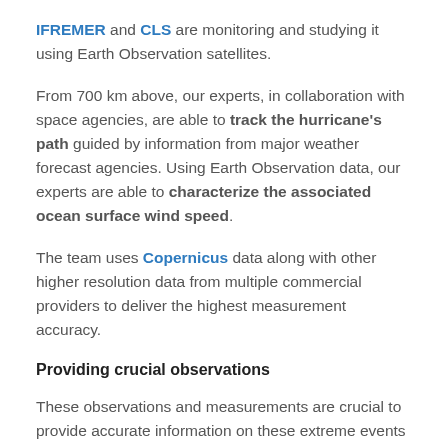IFREMER and CLS are monitoring and studying it using Earth Observation satellites.
From 700 km above, our experts, in collaboration with space agencies, are able to track the hurricane's path guided by information from major weather forecast agencies. Using Earth Observation data, our experts are able to characterize the associated ocean surface wind speed.
The team uses Copernicus data along with other higher resolution data from multiple commercial providers to deliver the highest measurement accuracy.
Providing crucial observations
These observations and measurements are crucial to provide accurate information on these extreme events for the weather agencies as well as the emergency coordination bodies, such as Copernicus EMS.
Click here to read the full article published on ESA's